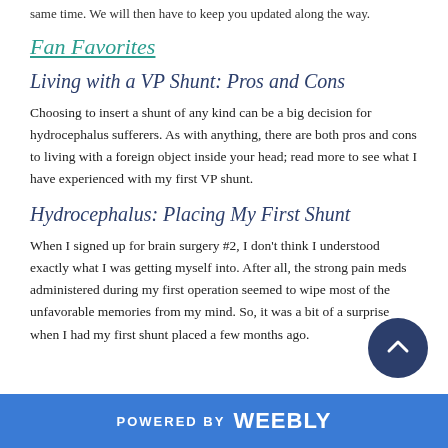same time. We will then have to keep you updated along the way.
Fan Favorites
Living with a VP Shunt: Pros and Cons
Choosing to insert a shunt of any kind can be a big decision for hydrocephalus sufferers. As with anything, there are both pros and cons to living with a foreign object inside your head; read more to see what I have experienced with my first VP shunt.
Hydrocephalus: Placing My First Shunt
When I signed up for brain surgery #2, I don't think I understood exactly what I was getting myself into. After all, the strong pain meds administered during my first operation seemed to wipe most of the unfavorable memories from my mind. So, it was a bit of a surprise when I had my first shunt placed a few months ago.
POWERED BY weebly